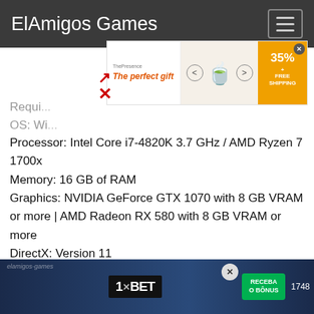ElAmigos Games
[Figure (other): Advertisement banner: 'The perfect gift' with teapot image, 35% + FREE SHIPPING offer with close button]
Processor: Intel Core i7-4820K 3.7 GHz / AMD Ryzen 7 1700x
Memory: 16 GB of RAM
Graphics: NVIDIA GeForce GTX 1070 with 8 GB VRAM or more | AMD Radeon RX 580 with 8 GB VRAM or more
DirectX: Version 11
Storage: 22 GB of available space
Sound card: DirectX compatible
Images
[Figure (screenshot): Bottom image strip showing 1XBET advertisement with 'RECEBA O BÔNUS' button and number 1748]